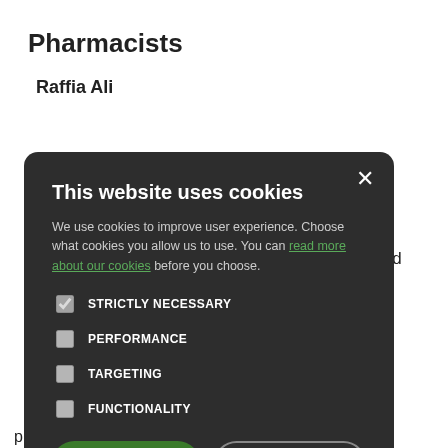Pharmacists
Raffia Ali
[Figure (screenshot): Cookie consent modal dialog with dark background overlay. Title: 'This website uses cookies'. Body text: 'We use cookies to improve user experience. Choose what cookies you allow us to use. You can read more about our cookies before you choose.' Checkboxes: STRICTLY NECESSARY (checked), PERFORMANCE, TARGETING, FUNCTIONALITY. Buttons: ACCEPT ALL (green), DECLINE ALL (outlined). Close X button top right.]
who need a Green
has babies, is to
provide families with children under five years old